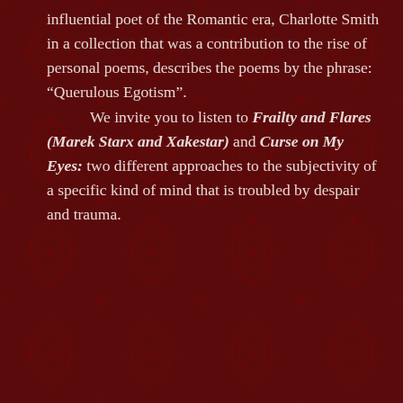influential poet of the Romantic era, Charlotte Smith in a collection that was a contribution to the rise of personal poems, describes the poems by the phrase: “Querulous Egotism”.

We invite you to listen to Frailty and Flares (Marek Starx and Xakestar) and Curse on My Eyes: two different approaches to the subjectivity of a specific kind of mind that is troubled by despair and trauma.